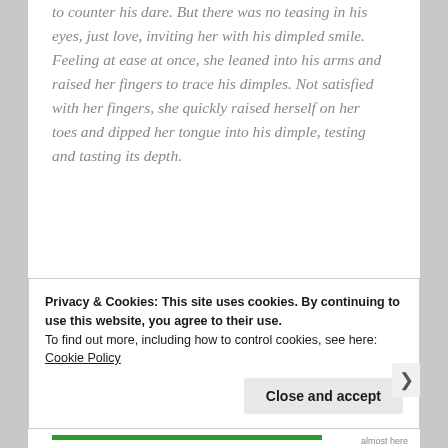to counter his dare. But there was no teasing in his eyes, just love, inviting her with his dimpled smile. Feeling at ease at once, she leaned into his arms and raised her fingers to trace his dimples. Not satisfied with her fingers, she quickly raised herself on her toes and dipped her tongue into his dimple, testing and tasting its depth.
Surprise registered on his face, soon followed by desire. NK quickly turned his face to catch her tongue
Privacy & Cookies: This site uses cookies. By continuing to use this website, you agree to their use.
To find out more, including how to control cookies, see here: Cookie Policy
Close and accept